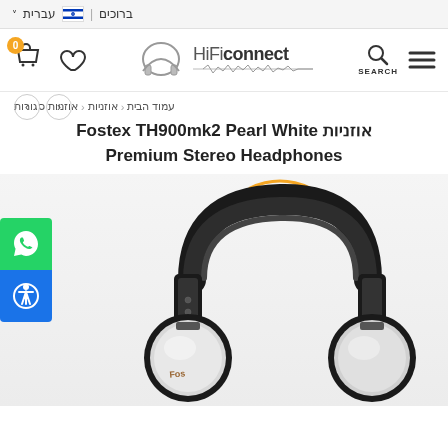ברוכים | 🇮🇱 עברית ˅
[Figure (logo): HiFiconnect logo with headphones icon and audio waveform]
עמוד הבית ‹ אוזניות ‹ אוזניות סגורות
אוזניות Fostex TH900mk2 Pearl White Premium Stereo Headphones
[Figure (photo): Close-up photo of Fostex TH900mk2 Pearl White premium stereo headphones showing the headband and ear cup with pearl white finish]